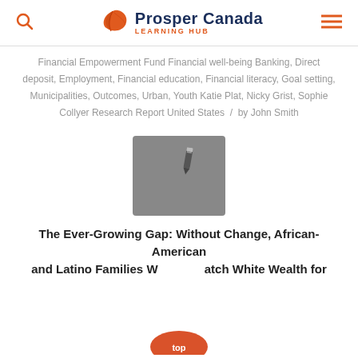Prosper Canada Learning Hub
Financial Empowerment Fund Financial well-being Banking, Direct deposit, Employment, Financial education, Financial literacy, Goal setting, Municipalities, Outcomes, Urban, Youth Katie Plat, Nicky Grist, Sophie Collyer Research Report United States / by John Smith
[Figure (illustration): Grey square placeholder image with a pencil/edit icon in the upper right area]
The Ever-Growing Gap: Without Change, African-American and Latino Families Will Not Match White Wealth for